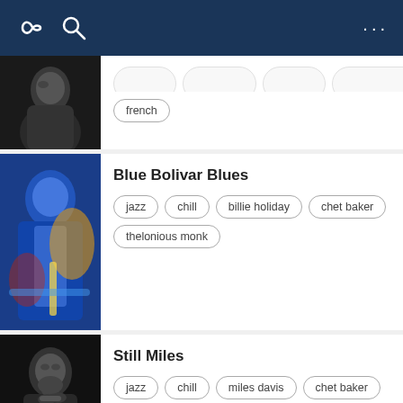Navigation bar with infinity icon, search icon, and options menu
[Figure (screenshot): Partial playlist card showing black and white photo of a woman with tags including 'french']
french
[Figure (screenshot): Playlist card for 'Blue Bolivar Blues' with colorful jazz-themed artwork]
Blue Bolivar Blues
jazz
chill
billie holiday
chet baker
thelonious monk
[Figure (screenshot): Playlist card for 'Still Miles' with black and white photo of Miles Davis]
Still Miles
jazz
chill
miles davis
chet baker
billie holliday